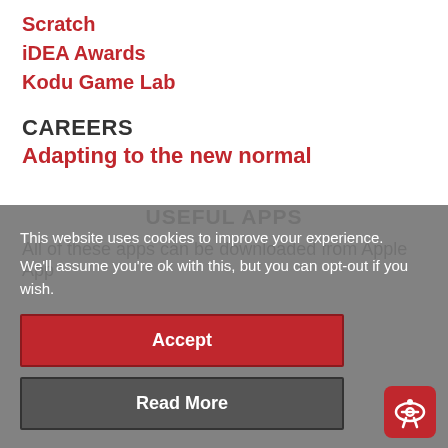Scratch
iDEA Awards
Kodu Game Lab
CAREERS
Adapting to the new normal
USEFUL APPS
All of these apps can be downloaded from Apple App
This website uses cookies to improve your experience.
We'll assume you're ok with this, but you can opt-out if you wish.
Accept
Read More